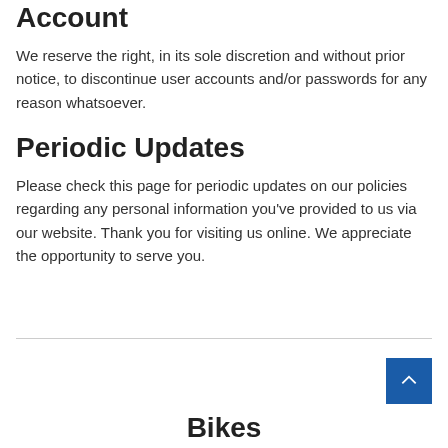Account
We reserve the right, in its sole discretion and without prior notice, to discontinue user accounts and/or passwords for any reason whatsoever.
Periodic Updates
Please check this page for periodic updates on our policies regarding any personal information you've provided to us via our website. Thank you for visiting us online. We appreciate the opportunity to serve you.
Bikes